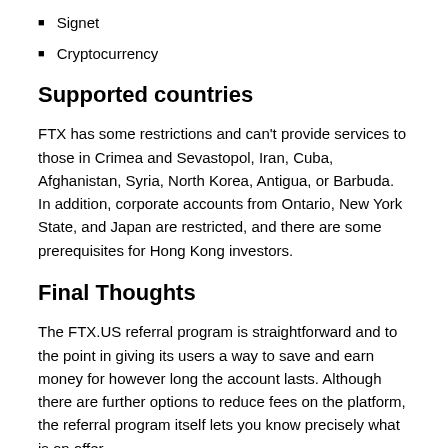Signet
Cryptocurrency
Supported countries
FTX has some restrictions and can't provide services to those in Crimea and Sevastopol, Iran, Cuba, Afghanistan, Syria, North Korea, Antigua, or Barbuda. In addition, corporate accounts from Ontario, New York State, and Japan are restricted, and there are some prerequisites for Hong Kong investors.
Final Thoughts
The FTX.US referral program is straightforward and to the point in giving its users a way to save and earn money for however long the account lasts. Although there are further options to reduce fees on the platform, the referral program itself lets you know precisely what is on offer.